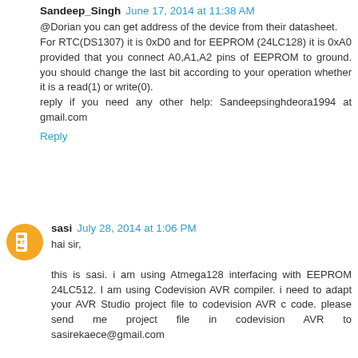Sandeep_Singh June 17, 2014 at 11:38 AM
@Dorian you can get address of the device from their datasheet.
For RTC(DS1307) it is 0xD0 and for EEPROM (24LC128) it is 0xA0 provided that you connect A0,A1,A2 pins of EEPROM to ground. you should change the last bit according to your operation whether it is a read(1) or write(0).
reply if you need any other help: Sandeepsinghdeora1994 at gmail.com
Reply
sasi July 28, 2014 at 1:06 PM
hai sir,

this is sasi. i am using Atmega128 interfacing with EEPROM 24LC512. I am using Codevision AVR compiler. i need to adapt your AVR Studio project file to codevision AVR c code. please send me project file in codevision AVR to sasirekaece@gmail.com